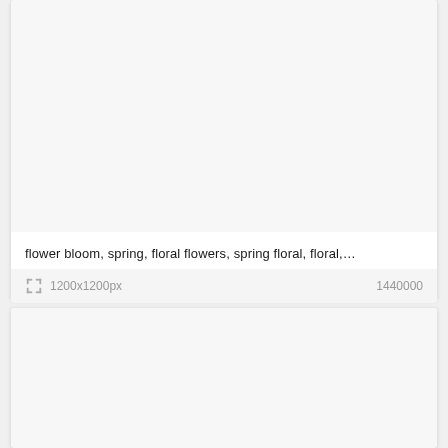[Figure (photo): Image card with blank white/light gray image area, no visible image content]
flower bloom, spring, floral flowers, spring floral, floral,...
1200x1200px   1440000
[Figure (photo): Second image card, partially visible, blank light gray image area]